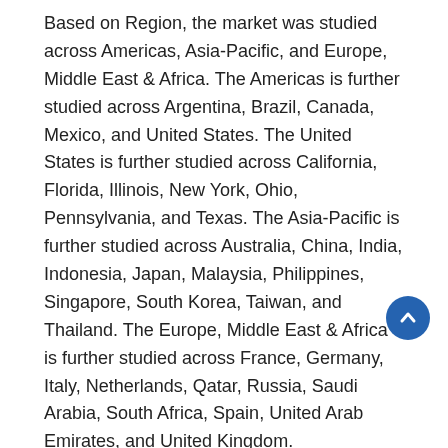Based on Region, the market was studied across Americas, Asia-Pacific, and Europe, Middle East & Africa. The Americas is further studied across Argentina, Brazil, Canada, Mexico, and United States. The United States is further studied across California, Florida, Illinois, New York, Ohio, Pennsylvania, and Texas. The Asia-Pacific is further studied across Australia, China, India, Indonesia, Japan, Malaysia, Philippines, Singapore, South Korea, Taiwan, and Thailand. The Europe, Middle East & Africa is further studied across France, Germany, Italy, Netherlands, Qatar, Russia, Saudi Arabia, South Africa, Spain, United Arab Emirates, and United Kingdom.
Cumulative Impact of COVID-19:
COVID-19 is an incomparable global public health emergency that has affected almost every industry, and the long-term effects are projected to impact the industry growth during the forecast period. Our ongoing research amplifies our research framework to ensure the inclusion of underlying COVID-19 issues and potential paths forward. The report delivers insights on COVID-19 considering the changes in consumer behavior and demand,